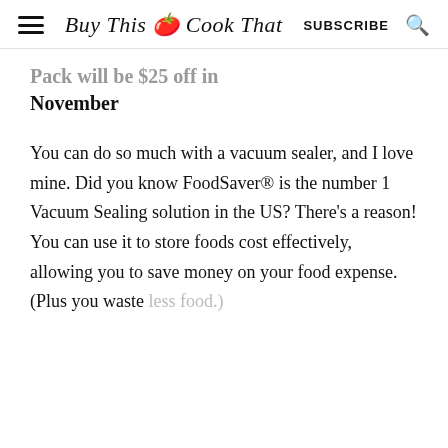Buy This Cook That | SUBSCRIBE
Pack will be $25 off in November
You can do so much with a vacuum sealer, and I love mine. Did you know FoodSaver® is the number 1 Vacuum Sealing solution in the US? There's a reason! You can use it to store foods cost effectively, allowing you to save money on your food expense. (Plus you waste less food.)